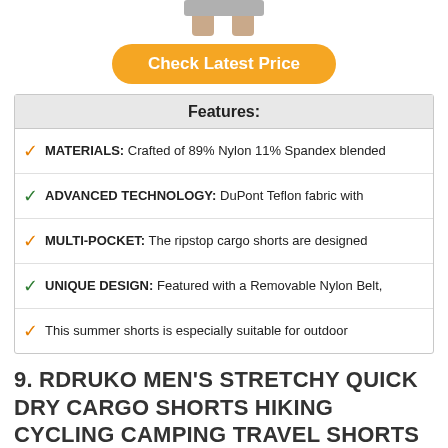[Figure (photo): Partial legs of a person wearing shorts, cropped at top]
Check Latest Price
| Features: |
| --- |
| ✓ MATERIALS: Crafted of 89% Nylon 11% Spandex blended |
| ✓ ADVANCED TECHNOLOGY: DuPont Teflon fabric with |
| ✓ MULTI-POCKET: The ripstop cargo shorts are designed |
| ✓ UNIQUE DESIGN: Featured with a Removable Nylon Belt, |
| ✓ This summer shorts is especially suitable for outdoor |
9. RDRUKO MEN'S STRETCHY QUICK DRY CARGO SHORTS HIKING CYCLING CAMPING TRAVEL SHORTS WITH 6 POCKETS(DARK GREY, US 32)
[Figure (photo): Dark grey cargo shorts product photo at bottom of page]